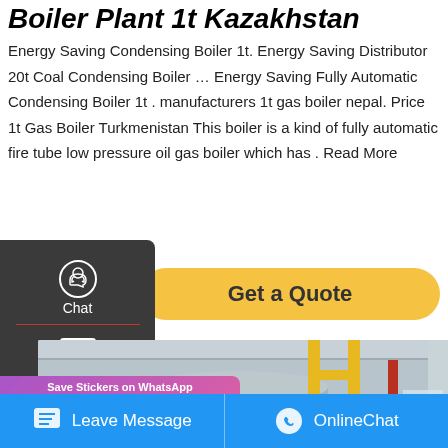Boiler Plant 1t Kazakhstan
Energy Saving Condensing Boiler 1t. Energy Saving Distributor 20t Coal Condensing Boiler … Energy Saving Fully Automatic Condensing Boiler 1t . manufacturers 1t gas boiler nepal. Price 1t Gas Boiler Turkmenistan This boiler is a kind of fully automatic fire tube low pressure oil gas boiler which has . Read More
[Figure (screenshot): Get a Quote button (yellow/gold rounded button)]
[Figure (screenshot): Sidebar with Chat, Email, Contact icons on dark background]
[Figure (photo): Industrial boiler plant interior photo showing large silver cylindrical boiler with yellow pipes and red pipes]
[Figure (screenshot): WhatsApp stickers overlay with purple-pink gradient background and app icons]
Leave Message   OnlineChat